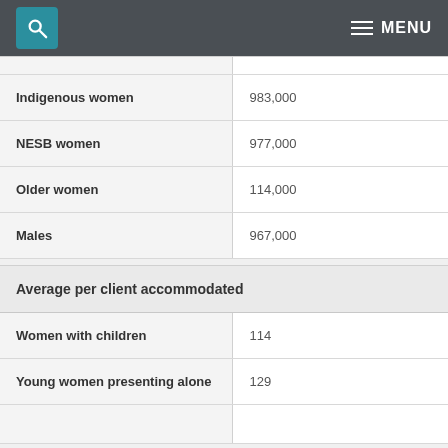MENU
| Indigenous women | 983,000 |
| NESB women | 977,000 |
| Older women | 114,000 |
| Males | 967,000 |
| Average per client accommodated |  |
| --- | --- |
| Women with children | 114 |
| Young women presenting alone | 129 |